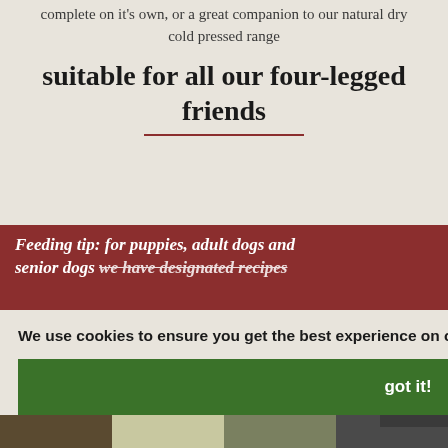complete on it's own, or a great companion to our natural dry cold pressed range
suitable for all our four-legged friends
[Figure (infographic): Red banner with italic bold white text: 'Feeding tip: for puppies, adult dogs and senior dogs we have designated recipes' with a light bulb icon featuring a green paw print, and a dog illustration on the right side.]
We use cookies to ensure you get the best experience on our website. Learn More
got it!
[Figure (photo): Partial text 'iment' in dark red italic and 'back to top' in italic bold white on dark background on the right side panel]
[Figure (photo): Bottom strip of three small thumbnail photos of dogs/dog food]